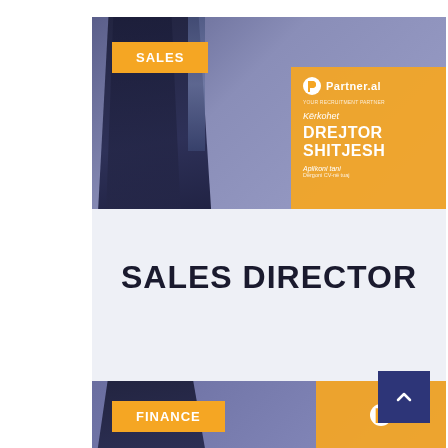[Figure (photo): Job posting card for Sales Director position at Partner.al, featuring a man in a suit background with an orange information panel showing 'Kërkohet DREJTOR SHITJESH' and the Partner.al logo. An orange SALES badge is in the top-left corner.]
SALES DIRECTOR
[Figure (photo): Partial job posting card at bottom with orange FINANCE badge and another Partner.al orange panel visible. A dark blue scroll-to-top button with an up arrow is in the bottom right corner.]